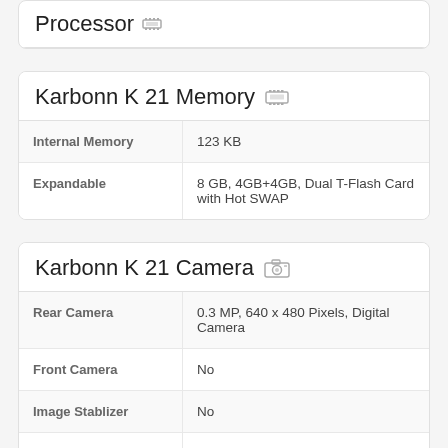Processor
| Property | Value |
| --- | --- |
| Internal Memory | 123 KB |
| Expandable | 8 GB, 4GB+4GB, Dual T-Flash Card with Hot SWAP |
Karbonn K 21 Memory
| Property | Value |
| --- | --- |
| Rear Camera | 0.3 MP, 640 x 480 Pixels, Digital Camera |
| Front Camera | No |
| Image Stablizer | No |
| Flash | No |
| Video Recording | Yes |
Karbonn K 21 Camera